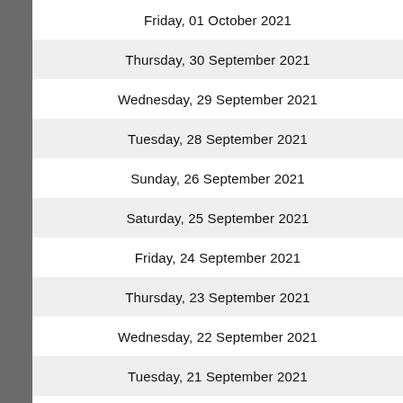Friday, 01 October 2021
Thursday, 30 September 2021
Wednesday, 29 September 2021
Tuesday, 28 September 2021
Sunday, 26 September 2021
Saturday, 25 September 2021
Friday, 24 September 2021
Thursday, 23 September 2021
Wednesday, 22 September 2021
Tuesday, 21 September 2021